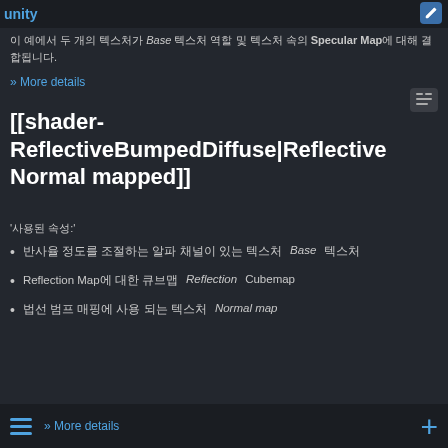unity
이 예에서 두 개의 텍스처가 Base 텍스처 역할 및 텍스처 속의 Specular Map에 대해 결합됩니다.
» More details
[[shader-ReflectiveBumpedDiffuse|Reflective Normal mapped]]
'사용된 속성:'
반사율 정도를 조절하는 알파 채널이 있는 텍스처 Base 텍스처
Reflection Map에 대한 큐브맵 Reflection Cubemap
법선 범프 매핑에 사용 되는 텍스처 Normal map
» More details